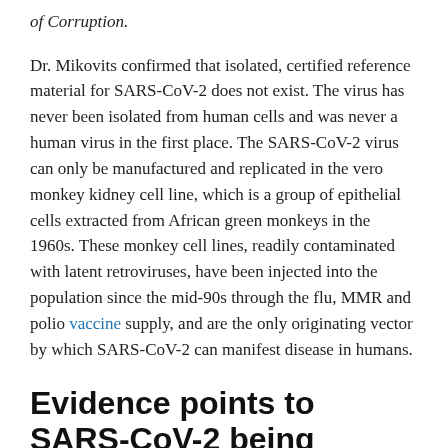of Corruption.
Dr. Mikovits confirmed that isolated, certified reference material for SARS-CoV-2 does not exist. The virus has never been isolated from human cells and was never a human virus in the first place. The SARS-CoV-2 virus can only be manufactured and replicated in the vero monkey kidney cell line, which is a group of epithelial cells extracted from African green monkeys in the 1960s. These monkey cell lines, readily contaminated with latent retroviruses, have been injected into the population since the mid-90s through the flu, MMR and polio vaccine supply, and are the only originating vector by which SARS-CoV-2 can manifest disease in humans.
Evidence points to SARS-CoV-2 being